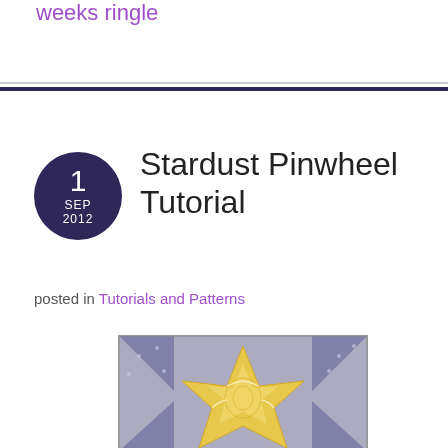weeks ringle
Stardust Pinwheel Tutorial
posted in Tutorials and Patterns
[Figure (photo): Photo of a stardust pinwheel quilt block featuring a yellow/gold star shape on a blue-grey dotted background, displayed on a light surface.]